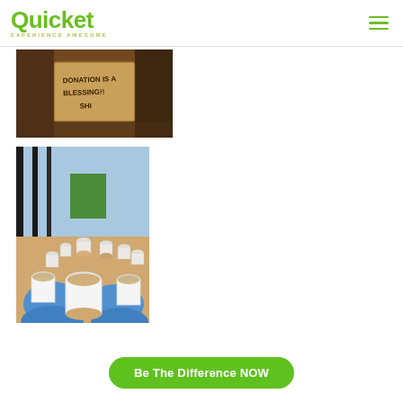Quicket — EXPERIENCE AWESOME
[Figure (photo): A handwritten cardboard sign reading 'DONATION IS A BLESSING!! SHI' held by a person, with dark background.]
[Figure (photo): Hands wearing blue gloves holding and distributing multiple white foam cups of food/porridge, with more cups visible in the background near a fence.]
Be The Difference NOW